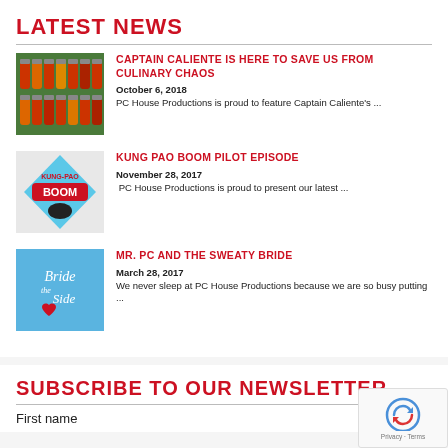LATEST NEWS
CAPTAIN CALIENTE IS HERE TO SAVE US FROM CULINARY CHAOS
October 6, 2018
PC House Productions is proud to feature Captain Caliente's ...
KUNG PAO BOOM PILOT EPISODE
November 28, 2017
PC House Productions is proud to present our latest ...
MR. PC AND THE SWEATY BRIDE
March 28, 2017
We never sleep at PC House Productions because we are so busy putting ...
SUBSCRIBE TO OUR NEWSLETTER
First name